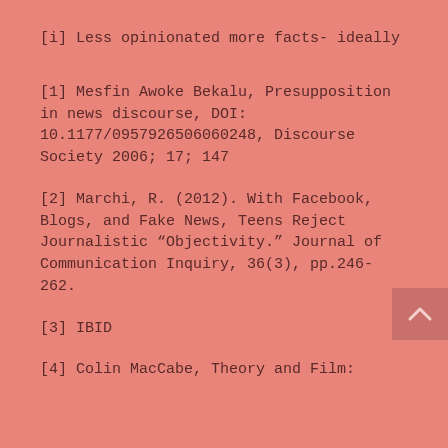[i] Less opinionated more facts- ideally
[1] Mesfin Awoke Bekalu, Presupposition in news discourse, DOI: 10.1177/0957926506060248, Discourse Society 2006; 17; 147
[2] Marchi, R. (2012). With Facebook, Blogs, and Fake News, Teens Reject Journalistic "Objectivity." Journal of Communication Inquiry, 36(3), pp.246-262.
[3] IBID
[4] Colin MacCabe, Theory and Film: